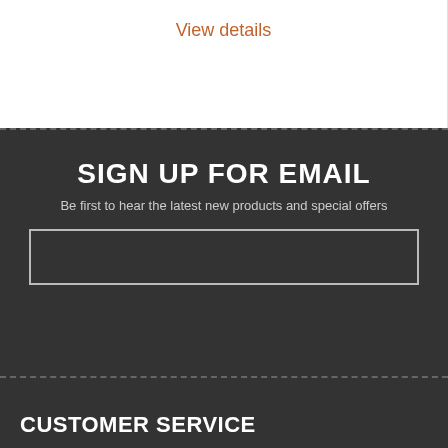View details
SIGN UP FOR EMAIL
Be first to hear the latest new products and special offers
CUSTOMER SERVICE
Contact Us